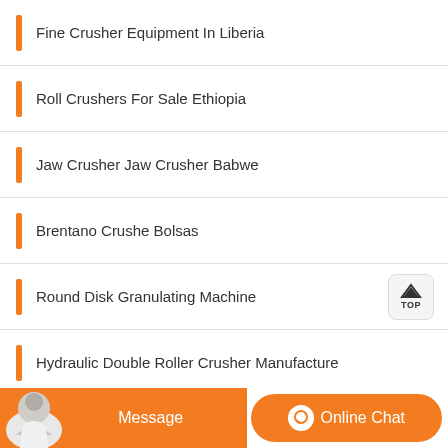Fine Crusher Equipment In Liberia
Roll Crushers For Sale Ethiopia
Jaw Crusher Jaw Crusher Babwe
Brentano Crushe Bolsas
Round Disk Granulating Machine
Hydraulic Double Roller Crusher Manufacture
Kitchenaid Dryer Parts Diagram
ce Mobile Impact Crusher Mobile Stone Crusher Mobile Jaw